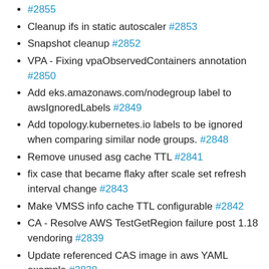#2855
Cleanup ifs in static autoscaler #2853
Snapshot cleanup #2852
VPA - Fixing vpaObservedContainers annotation #2850
Add eks.amazonaws.com/nodegroup label to awsIgnoredLabels #2849
Add topology.kubernetes.io labels to be ignored when comparing similar node groups. #2848
Remove unused asg cache TTL #2841
fix case that became flaky after scale set refresh interval change #2843
Make VMSS info cache TTL configurable #2842
CA - Resolve AWS TestGetRegion failure post 1.18 vendoring #2839
Update referenced CAS image in aws YAML example #2838
VPA - failing e2e run when test fails #2837
Add delta snapshot implementation #2799